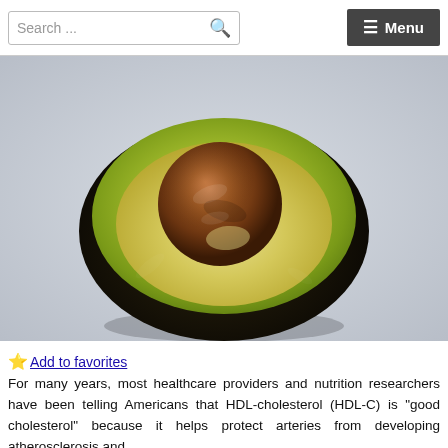Search ... Menu
[Figure (photo): A halved avocado showing the pit/seed and green flesh interior, photographed on a light gray background.]
⭐ Add to favorites
For many years, most healthcare providers and nutrition researchers have been telling Americans that HDL-cholesterol (HDL-C) is "good cholesterol" because it helps protect arteries from developing atherosclerosis and